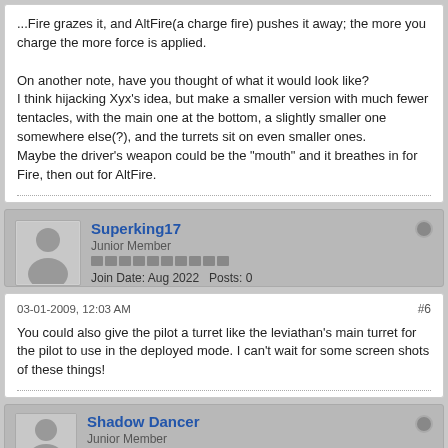...Fire grazes it, and AltFire(a charge fire) pushes it away; the more you charge the more force is applied.

On another note, have you thought of what it would look like? I think hijacking Xyx's idea, but make a smaller version with much fewer tentacles, with the main one at the bottom, a slightly smaller one somewhere else(?), and the turrets sit on even smaller ones. Maybe the driver's weapon could be the "mouth" and it breathes in for Fire, then out for AltFire.
Superking17
Junior Member
Join Date: Aug 2022   Posts: 0
03-01-2009, 12:03 AM
#6
You could also give the pilot a turret like the leviathan's main turret for the pilot to use in the deployed mode. I can't wait for some screen shots of these things!
Shadow Dancer
Junior Member